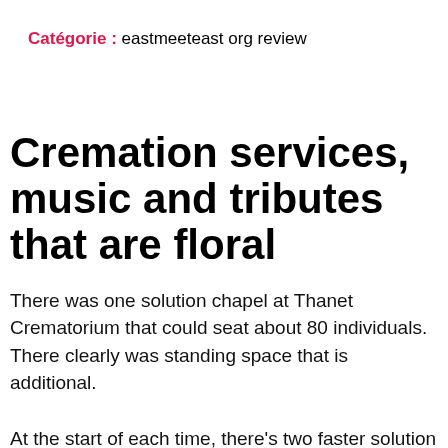Catégorie : eastmeeteast org review
Cremation services, music and tributes that are floral
There was one solution chapel at Thanet Crematorium that could seat about 80 individuals. There clearly was standing space that is additional.
At the start of each time, there's two faster solution times at 9.00 am and 9.30 am, with at